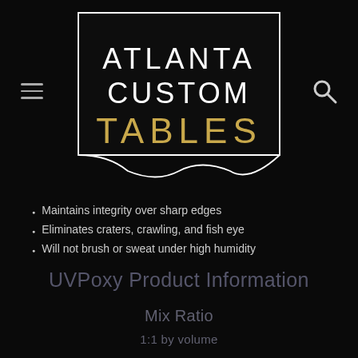[Figure (logo): Atlanta Custom Tables logo: black square with white border containing text ATLANTA CUSTOM in white and TABLES in gold, with a wave/pennant shape at the bottom]
Maintains integrity over sharp edges
Eliminates craters, crawling, and fish eye
Will not brush or sweat under high humidity
UVPoxy Product Information
Mix Ratio
1:1 by volume